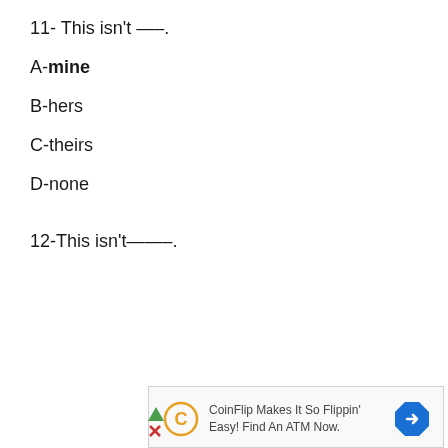11- This isn't —–.
A-mine
B-hers
C-theirs
D-none
12-This isn't———-.
[Figure (other): CoinFlip advertisement banner: CoinFlip logo icon, text 'CoinFlip Makes It So Flippin' Easy! Find An ATM Now.' with a blue diamond arrow icon on the right.]